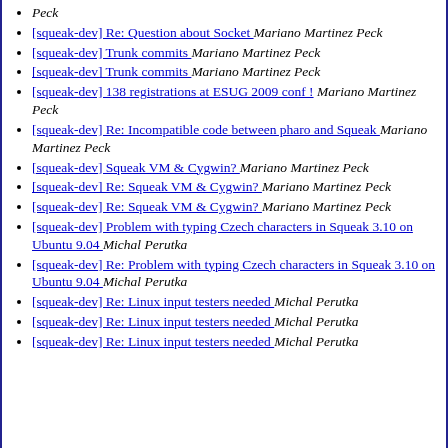Peck
[squeak-dev] Re: Question about Socket  Mariano Martinez Peck
[squeak-dev] Trunk commits  Mariano Martinez Peck
[squeak-dev] Trunk commits  Mariano Martinez Peck
[squeak-dev] 138 registrations at ESUG 2009 conf !  Mariano Martinez Peck
[squeak-dev] Re: Incompatible code between pharo and Squeak  Mariano Martinez Peck
[squeak-dev] Squeak VM & Cygwin?  Mariano Martinez Peck
[squeak-dev] Re: Squeak VM & Cygwin?  Mariano Martinez Peck
[squeak-dev] Re: Squeak VM & Cygwin?  Mariano Martinez Peck
[squeak-dev] Problem with typing Czech characters in Squeak 3.10 on Ubuntu 9.04  Michal Perutka
[squeak-dev] Re: Problem with typing Czech characters in Squeak 3.10 on Ubuntu 9.04  Michal Perutka
[squeak-dev] Re: Linux input testers needed  Michal Perutka
[squeak-dev] Re: Linux input testers needed  Michal Perutka
[squeak-dev] Re: Linux input testers needed  Michal Perutka